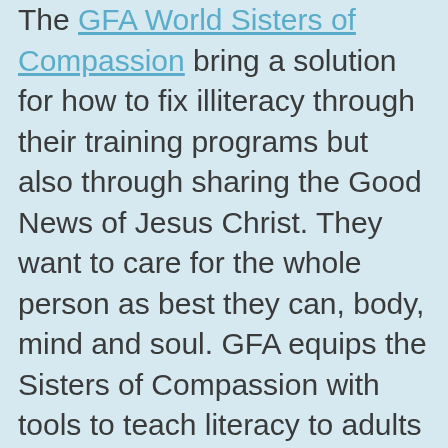The GFA World Sisters of Compassion bring a solution for how to fix illiteracy through their training programs but also through sharing the Good News of Jesus Christ. They want to care for the whole person as best they can, body, mind and soul. GFA equips the Sisters of Compassion with tools to teach literacy to adults in areas where it was simply never an option for them to learn, just like for Kassia.
GFA's Women's Literacy Fund was created for women like Kassia. These women are caught in the trap of poverty that often steals an education from